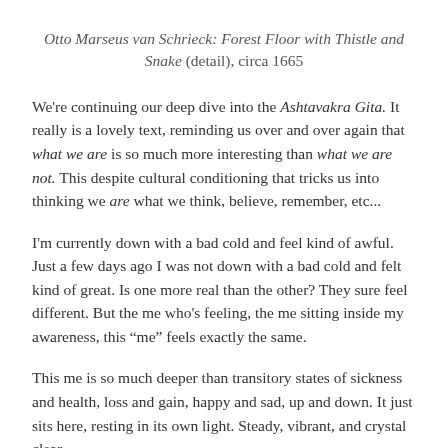Otto Marseus van Schrieck: Forest Floor with Thistle and Snake (detail), circa 1665
We're continuing our deep dive into the Ashtavakra Gita. It really is a lovely text, reminding us over and over again that what we are is so much more interesting than what we are not. This despite cultural conditioning that tricks us into thinking we are what we think, believe, remember, etc...
I'm currently down with a bad cold and feel kind of awful. Just a few days ago I was not down with a bad cold and felt kind of great. Is one more real than the other? They sure feel different. But the me who's feeling, the me sitting inside my awareness, this "me" feels exactly the same.
This me is so much deeper than transitory states of sickness and health, loss and gain, happy and sad, up and down. It just sits here, resting in its own light. Steady, vibrant, and crystal clear.